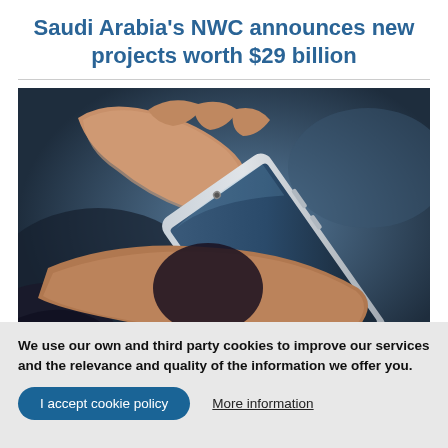Saudi Arabia's NWC announces new projects worth $29 billion
[Figure (photo): Close-up of hands holding a smartphone, dark blurred background]
We use our own and third party cookies to improve our services and the relevance and quality of the information we offer you.
I accept cookie policy
More information